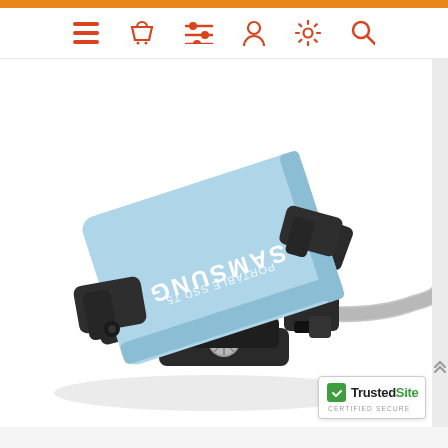[Figure (screenshot): Website navigation bar with orange top bar and icons: hamburger menu, shopping basket, filter sliders, person/account, settings gear, and search magnifier — all in red/orange on white background]
[Figure (photo): Samsung T5 Portable SSD (light blue) held in a black adjustable clamp mount with a USB-C cable attached, photographed on a white background]